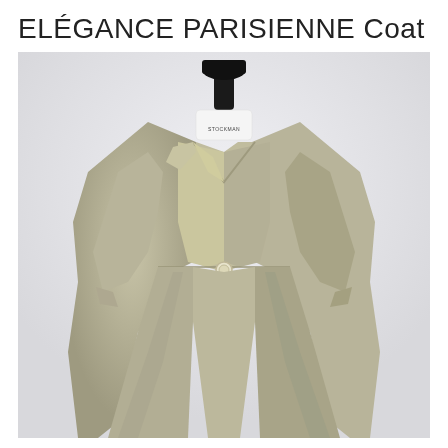ELÉGANCE PARISIENNE Coat
[Figure (photo): A beige/champagne-colored elegant coat displayed on a white dress form/mannequin stand against a light gray-white background. The coat features a wrap-style collarless neckline, long sleeves, a single button at the waist, and a peplum-style flared skirt hem. The mannequin stand has a black stem and base with a white torso labeled 'STOCKMAN'.]